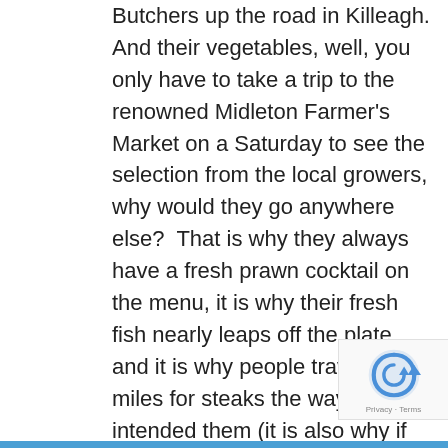Butchers up the road in Killeagh. And their vegetables, well, you only have to take a trip to the renowned Midleton Farmer's Market on a Saturday to see the selection from the local growers, why would they go anywhere else?  That is why they always have a fresh prawn cocktail on the menu, it is why their fresh fish nearly leaps off the plate and it is why people travel for miles for steaks the way nature intended them (it is also why if you ask for new potatoes in December, you will not get them!)  Whether you choose to eat in the hotel restaurant, the Lighthouse Bar & Grill or snack in the comfort of the Cave Bar, their head chef Kevin O'Sullivan and his team will deliver three simple things: Flavour, Freshness & Simplicity.
[Figure (other): reCAPTCHA badge with Privacy and Terms links]